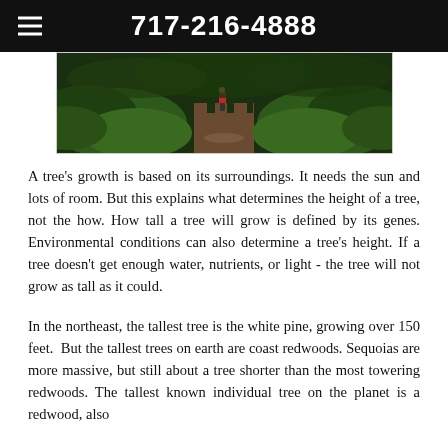717-216-4888
[Figure (photo): Forest path with ferns and trees, person visible in the distance on a dirt trail]
A tree's growth is based on its surroundings. It needs the sun and lots of room. But this explains what determines the height of a tree, not the how. How tall a tree will grow is defined by its genes. Environmental conditions can also determine a tree's height. If a tree doesn't get enough water, nutrients, or light - the tree will not grow as tall as it could.
In the northeast, the tallest tree is the white pine, growing over 150 feet.  But the tallest trees on earth are coast redwoods. Sequoias are more massive, but still about a tree shorter than the most towering redwoods. The tallest known individual tree on the planet is a redwood, also